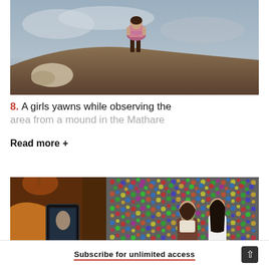[Figure (photo): A girl standing on a mound of earth with a cloudy sky behind her, viewed from behind, wearing a floral skirt]
8. A girls yawns while observing the area from a mound in the Mathare
Read more +
[Figure (photo): Person holding a phone taking a photo of two women posing in front of the famous gum wall covered in colorful chewing gum]
Subscribe for unlimited access